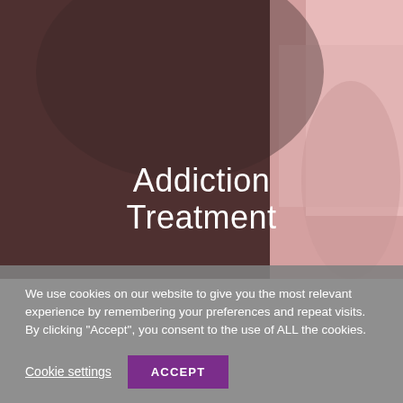[Figure (photo): Background photo of a person in a pink top sitting against a dark brown background, partially visible on the right side. The image serves as a hero banner for an addiction treatment page.]
Addiction Treatment
We use cookies on our website to give you the most relevant experience by remembering your preferences and repeat visits. By clicking "Accept", you consent to the use of ALL the cookies.
Cookie settings
ACCEPT